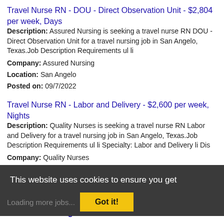Travel Nurse RN - DOU - Direct Observation Unit - $2,804 per week, Days
Description: Assured Nursing is seeking a travel nurse RN DOU - Direct Observation Unit for a travel nursing job in San Angelo, Texas.Job Description Requirements ul li
Company: Assured Nursing
Location: San Angelo
Posted on: 09/7/2022
Travel Nurse RN - Labor and Delivery - $2,600 per week, Nights
Description: Quality Nurses is seeking a travel nurse RN Labor and Delivery for a travel nursing job in San Angelo, Texas.Job Description Requirements ul li Specialty: Labor and Delivery li Dis
Company: Quality Nurses
Location: San Angelo
Posted on: 09/7/2022
This website uses cookies to ensure you get the best experience on our website. Learn more
Loading more jobs... Got it!
Log In or Create An Account